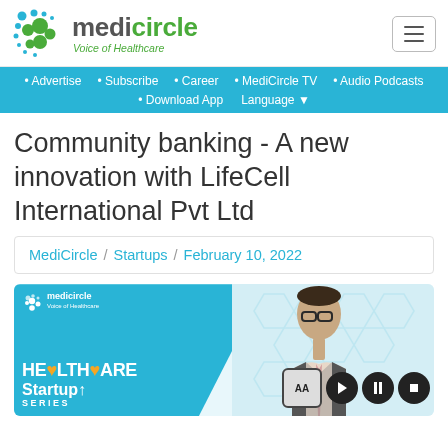[Figure (logo): Medicircle logo with dot circles and 'Voice of Healthcare' tagline]
• Advertise  • Subscribe  • Career  • MediCircle TV  • Audio Podcasts  • Download App  Language
Community banking - A new innovation with LifeCell International Pvt Ltd
MediCircle / Startups / February 10, 2022
[Figure (screenshot): Healthcare Startup Series thumbnail with Medicircle logo, blue diagonal design, person in suit with glasses, and video player controls (AA, play, pause, stop)]